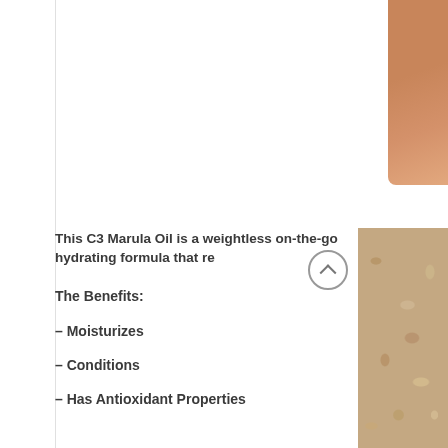[Figure (photo): Partial photo of a person's skin/shoulder area, warm orange-brown skin tones, top-right corner of page]
This C3 Marula Oil is a weightless on-the-go hydrating formula that re
The Benefits:
– Moisturizes
– Conditions
– Has Antioxidant Properties
[Figure (photo): Textured beige/tan surface photo, bottom-right corner of page, with a circular scroll-to-top arrow button overlaid]